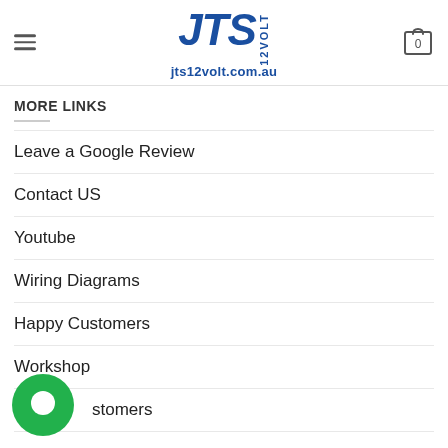[Figure (logo): JTS 12VOLT logo with 'jts12volt.com.au' URL text in blue]
MORE LINKS
Leave a Google Review
Contact US
Youtube
Wiring Diagrams
Happy Customers
Workshop
US...stomers
N...omers
[Figure (illustration): Green circular chat bubble icon overlapping the bottom navigation items]